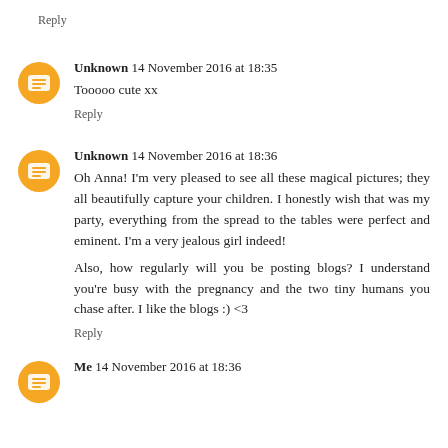Reply
Unknown 14 November 2016 at 18:35
Tooooo cute xx
Reply
Unknown 14 November 2016 at 18:36
Oh Anna! I'm very pleased to see all these magical pictures; they all beautifully capture your children. I honestly wish that was my party, everything from the spread to the tables were perfect and eminent. I'm a very jealous girl indeed!
Also, how regularly will you be posting blogs? I understand you're busy with the pregnancy and the two tiny humans you chase after. I like the blogs :) <3
Reply
Me 14 November 2016 at 18:36